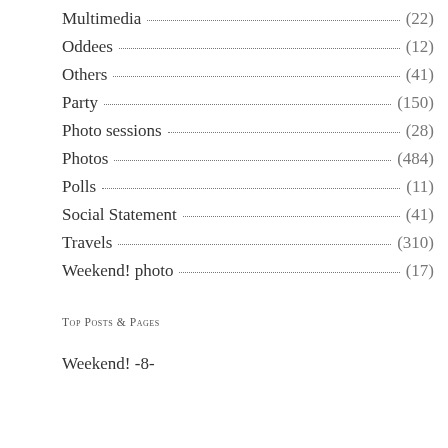Multimedia (22)
Oddees (12)
Others (41)
Party (150)
Photo sessions (28)
Photos (484)
Polls (11)
Social Statement (41)
Travels (310)
Weekend! photo (17)
Top Posts & Pages
Weekend! -8-